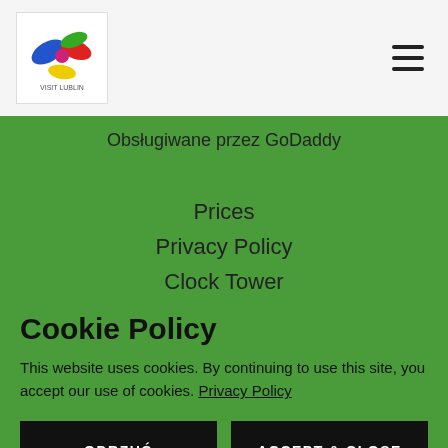Visit Lublin logo | hamburger menu
Obsługiwane przez GoDaddy
Prices
Privacy Policy
Clock Tower
Cookie Policy
This website uses cookies. By continuing to use this site, you accept our use of cookies. Privacy Policy
ODRZUĆ
ACCEPT & CLOSE